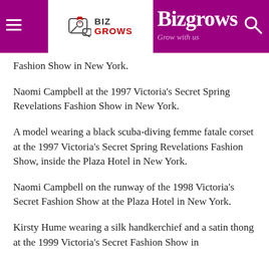Bizgrows — Grow with us
Fashion Show in New York.
Naomi Campbell at the 1997 Victoria's Secret Spring Revelations Fashion Show in New York.
A model wearing a black scuba-diving femme fatale corset at the 1997 Victoria's Secret Spring Revelations Fashion Show, inside the Plaza Hotel in New York.
Naomi Campbell on the runway of the 1998 Victoria's Secret Fashion Show at the Plaza Hotel in New York.
Kirsty Hume wearing a silk handkerchief and a satin thong at the 1999 Victoria's Secret Fashion Show in